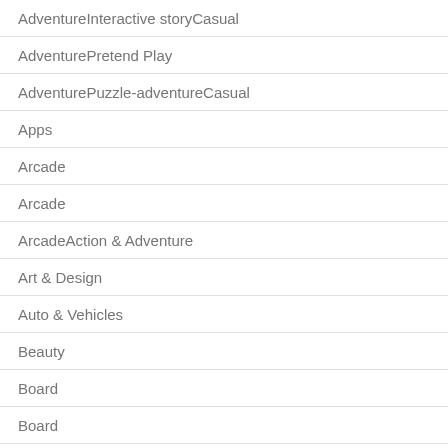AdventureInteractive storyCasual
AdventurePretend Play
AdventurePuzzle-adventureCasual
Apps
Arcade
Arcade
ArcadeAction & Adventure
Art & Design
Auto & Vehicles
Beauty
Board
Board
BoardAbstract strategyCasual